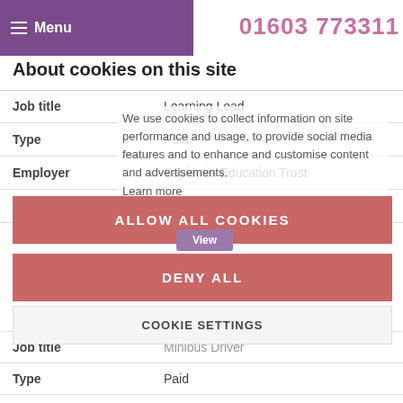Menu   01603 773311
About cookies on this site
| Field | Value |
| --- | --- |
| Job title | Learning Lead |
| Type | Paid |
| Employer | Sapientia Education Trust |
| Closing date | 05/09/2022 |
We use cookies to collect information on site performance and usage, to provide social media features and to enhance and customise content and advertisements.
Learn more
ALLOW ALL COOKIES
View
DENY ALL
COOKIE SETTINGS
| Field | Value |
| --- | --- |
| Job title | Minibus Driver |
| Type | Paid |
| Employer | Sapientia Education Trust |